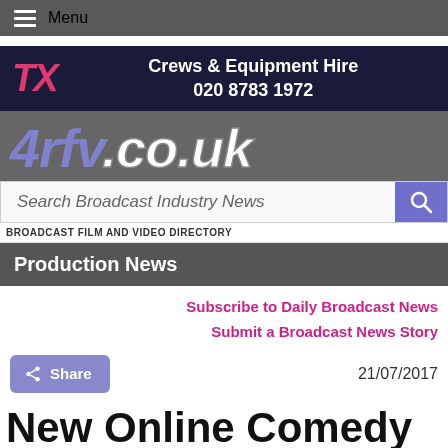≡ Menu
[Figure (logo): TX logo with pink stylized text — Crews & Equipment Hire, 020 8783 1972 on dark navy background]
[Figure (logo): 4rfv.co.uk website logo on grey background]
Search Broadcast Industry News
BROADCAST FILM AND VIDEO DIRECTORY
Production News
Subscribe to Daily Broadcast News
Submit a Broadcast News Story
21/07/2017
New Online Comedy